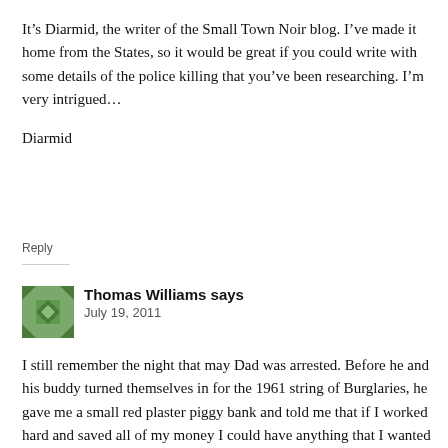It's Diarmid, the writer of the Small Town Noir blog. I've made it home from the States, so it would be great if you could write with some details of the police killing that you've been researching. I'm very intrigued…

Diarmid
Reply
Thomas Williams says
July 19, 2011
I still remember the night that may Dad was arrested. Before he and his buddy turned themselves in for the 1961 string of Burglaries, he gave me a small red plaster piggy bank and told me that if I worked hard and saved all of my money I could have anything that I wanted in